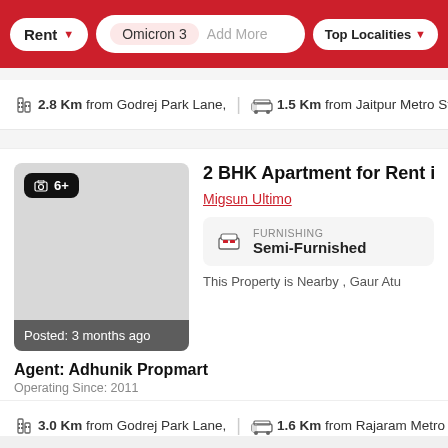Rent | Omicron 3 | Add More | Top Localities
2.8 Km from Godrej Park Lane, | 1.5 Km from Jaitpur Metro St
2 BHK Apartment for Rent i
Migsun Ultimo
FURNISHING Semi-Furnished
Posted: 3 months ago
This Property is Nearby , Gaur Atu
Agent: Adhunik Propmart
Operating Since: 2011
3.0 Km from Godrej Park Lane, | 1.6 Km from Rajaram Metro